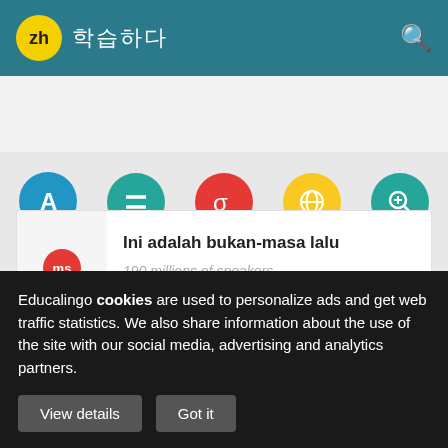zh 학습하다
[Figure (screenshot): Navigation row with 5 circular icons: Dictionary (blue A), Synonyms (teal =), Translator (red sigma), Trends (yellow globe), Examples (green magnifier)]
Ini adalah bukan-masa lalu
190 millions of speakers
Translator Chinese - German
Educalingo cookies are used to personalize ads and get web traffic statistics. We also share information about the use of the site with our social media, advertising and analytics partners.
View details
Got it